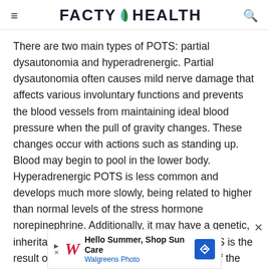FACTY HEALTH
There are two main types of POTS: partial dysautonomia and hyperadrenergic. Partial dysautonomia often causes mild nerve damage that affects various involuntary functions and prevents the blood vessels from maintaining ideal blood pressure when the pull of gravity changes. These changes occur with actions such as standing up. Blood may begin to pool in the lower body. Hyperadrenergic POTS is less common and develops much more slowly, being related to higher than normal levels of the stress hormone norepinephrine. Additionally, it may have a genetic, inheritable component. In some cases, POTS is the result of a pre-existing condition. This form of the syndrome is secondary POTS.
[Figure (other): Walgreens advertisement banner: Hello Summer, Shop Sun Care - Walgreens Photo]